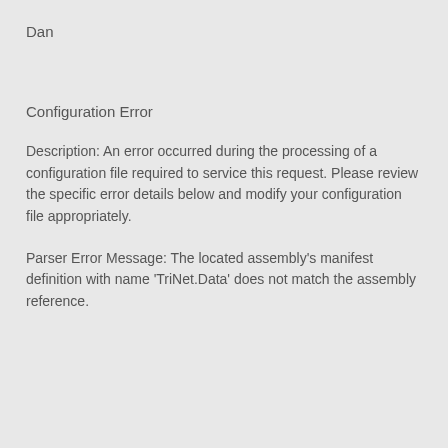Dan
Configuration Error
Description: An error occurred during the processing of a configuration file required to service this request. Please review the specific error details below and modify your configuration file appropriately.
Parser Error Message: The located assembly's manifest definition with name 'TriNet.Data' does not match the assembly reference.